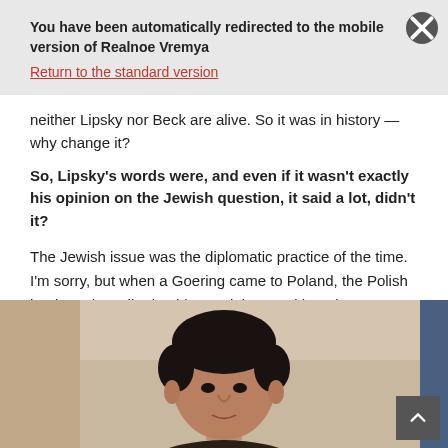You have been automatically redirected to the mobile version of Realnoe Vremya
Return to the standard version
neither Lipsky nor Beck are alive. So it was in history — why change it?
So, Lipsky's words were, and even if it wasn't exactly his opinion on the Jewish question, it said a lot, didn't it?
The Jewish issue was the diplomatic practice of the time. I'm sorry, but when a Goering came to Poland, the Polish leaders also talked to him, and they positioned themselves as potential allies of Germany during the negotiations. And by the way, at these talks, there was a discussion that it would be good to act together against the enemy in the East. It just was.
[Figure (photo): Partial photo of a person's head and shoulders, dark hair, visible from the top of the frame]